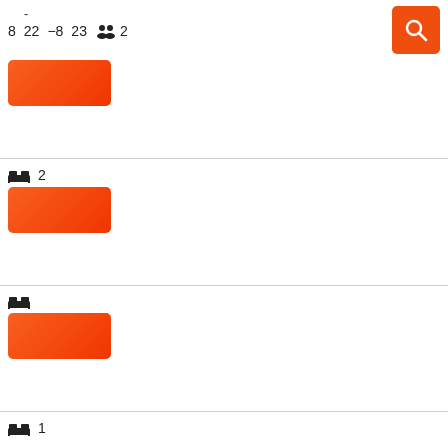- 8 22 −8 23 👥 2
[Figure (screenshot): Orange search button with magnifying glass icon]
[Figure (screenshot): Orange rectangular button/pill]
[Figure (screenshot): Section with bed icon and number 2, orange rectangular button]
[Figure (screenshot): Section with bed icon, orange rectangular button]
🛏 1